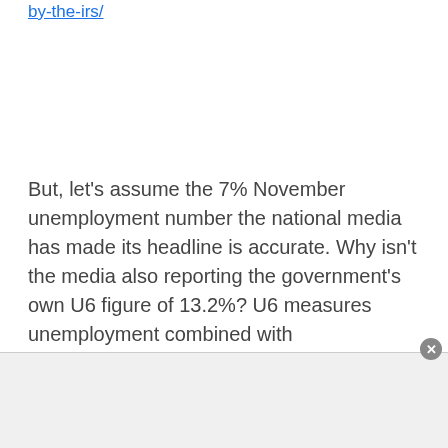by-the-irs/
But, let's assume the 7% November unemployment number the national media has made its headline is accurate. Why isn't the media also reporting the government's own U6 figure of 13.2%? U6 measures unemployment combined with underemployment, a stat that every expert agrees is the more accurate picture of true unemployment. If a Republican was President, the 13.2% figure would